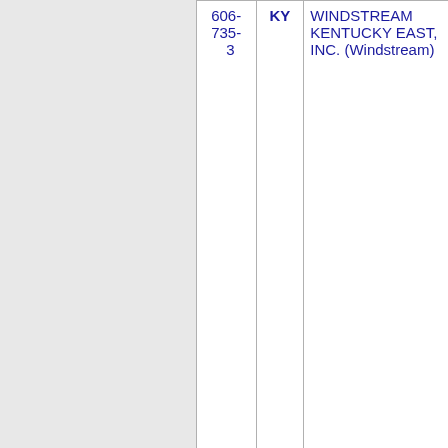| NXX | State | Carrier | Code | City |
| --- | --- | --- | --- | --- |
| 606-735-3 | KY | WINDSTREAM KENTUCKY EAST, INC. (Windstream) | 9691 | BROO... |
| 606-735-9 | KY | WINDSTREAM KENTUCKY EAST, INC. (Windstream) | 9691 | BROO... |
| 606-742 | KY | WINDSTREAM KENTUCKY EAST, INC. | 9691 | LEWIS... |